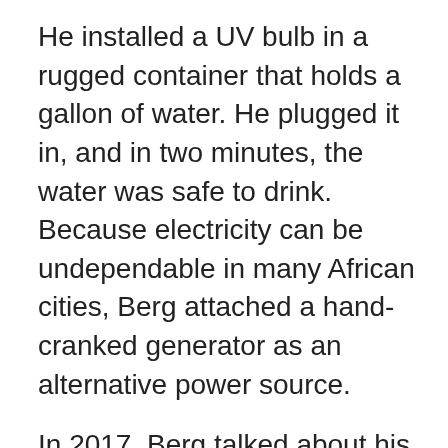He installed a UV bulb in a rugged container that holds a gallon of water. He plugged it in, and in two minutes, the water was safe to drink. Because electricity can be undependable in many African cities, Berg attached a hand-cranked generator as an alternative power source.
In 2017, Berg talked about his water box at a City Club of Corvallis workshop about how to obtain safe water after an earthquake. In the audience, climate researcher Dave Conklin, Ph.D. biological and ecological engineering '10, was intrigued. He did some back-of-the-envelope calculations and realized that the water box had the potential to significantly